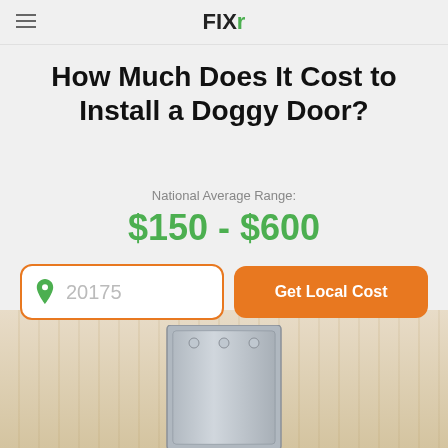FIXI
How Much Does It Cost to Install a Doggy Door?
National Average Range:
$150 - $600
20175
Get Local Cost
[Figure (photo): Photo of a silver/metal doggy door flap installed in a wooden door]